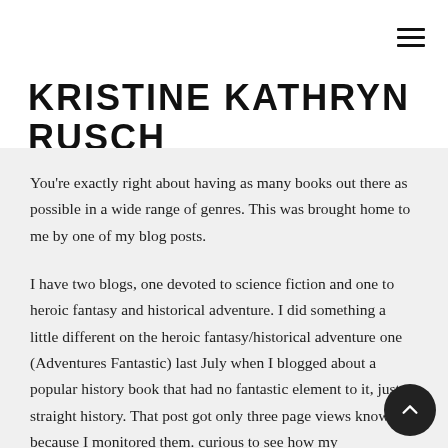≡
KRISTINE KATHRYN RUSCH
You're exactly right about having as many books out there as possible in a wide range of genres. This was brought home to me by one of my blog posts.
I have two blogs, one devoted to science fiction and one to heroic fantasy and historical adventure. I did something a little different on the heroic fantasy/historical adventure one (Adventures Fantastic) last July when I blogged about a popular history book that had no fantastic element to it, just straight history. That post got only three page views know because I monitored them. curious to see how my